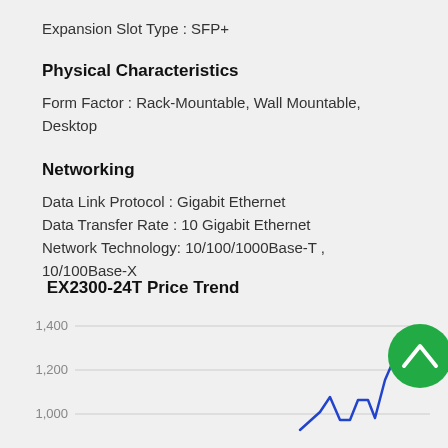Expansion Slot Type : SFP+
Physical Characteristics
Form Factor : Rack-Mountable, Wall Mountable, Desktop
Networking
Data Link Protocol : Gigabit Ethernet
Data Transfer Rate : 10 Gigabit Ethernet
Network Technology: 10/100/1000Base-T , 10/100Base-X
EX2300-24T Price Trend
[Figure (line-chart): Partial line chart showing EX2300-24T price trend with y-axis labels 1,400 and 1,200 and 1,000 visible, blue line trending upward in lower right portion]